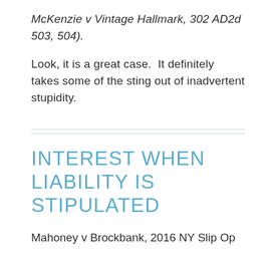McKenzie v Vintage Hallmark, 302 AD2d 503, 504).
Look, it is a great case.  It definitely takes some of the sting out of inadvertent stupidity.
INTEREST WHEN LIABILITY IS STIPULATED
Mahoney v Brockbank, 2016 NY Slip Op